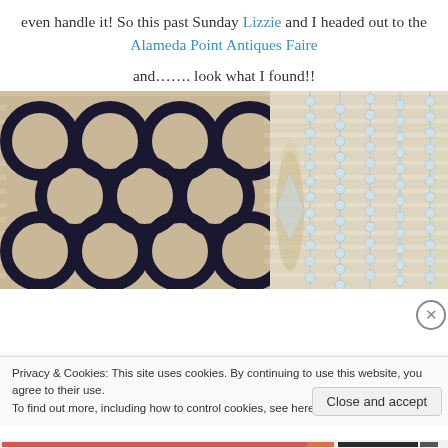even handle it! So this past Sunday Lizzie and I headed out to the Alameda Point Antiques Faire
and……. look what I found!!
[Figure (photo): Photo of a decorative pillow with a black and beige geometric trellis pattern next to a crystal chandelier, with window blinds in the background.]
Privacy & Cookies: This site uses cookies. By continuing to use this website, you agree to their use. To find out more, including how to control cookies, see here: Cookie Policy
Close and accept